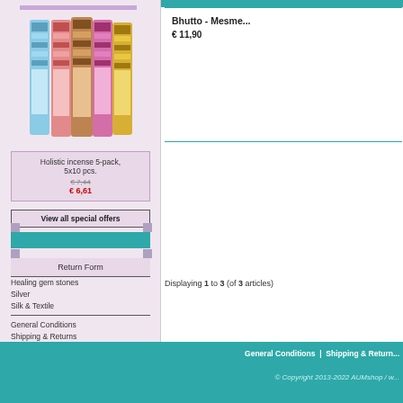[Figure (photo): Holistic incense sticks 5-pack, showing 5 colorful decorated incense packages fanned out]
Holistic incense 5-pack, 5x10 pcs.
€ 7,44
€ 6,61
View all special offers
Return Form
Healing gem stones
Silver
Silk & Textile
General Conditions
Shipping & Returns
Privacy Statement
Web Site Conditions
Contact Us
Bhutto - Mesme...
€ 11,90
Displaying 1 to 3 (of 3 articles)
General Conditions | Shipping & Return...
© Copyright 2013-2022 AUMshop / w...